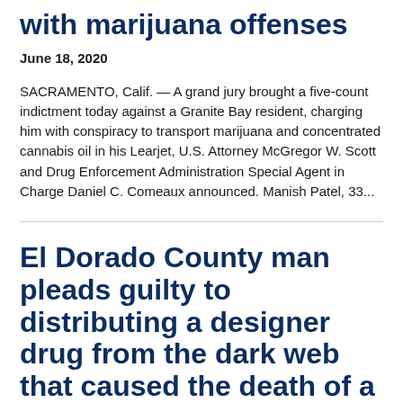with marijuana offenses
June 18, 2020
SACRAMENTO, Calif. — A grand jury brought a five-count indictment today against a Granite Bay resident, charging him with conspiracy to transport marijuana and concentrated cannabis oil in his Learjet, U.S. Attorney McGregor W. Scott and Drug Enforcement Administration Special Agent in Charge Daniel C. Comeaux announced. Manish Patel, 33...
El Dorado County man pleads guilty to distributing a designer drug from the dark web that caused the death of a minor